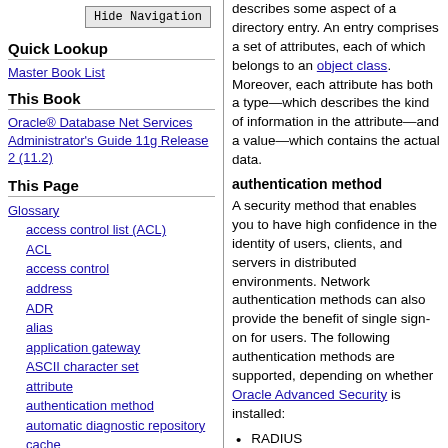describes some aspect of a directory entry. An entry comprises a set of attributes, each of which belongs to an object class. Moreover, each attribute has both a type—which describes the kind of information in the attribute—and a value—which contains the actual data.
authentication method
A security method that enables you to have high confidence in the identity of users, clients, and servers in distributed environments. Network authentication methods can also provide the benefit of single sign-on for users. The following authentication methods are supported, depending on whether Oracle Advanced Security is installed:
RADIUS
Kerberos
Hide Navigation
Quick Lookup
Master Book List
This Book
Oracle® Database Net Services Administrator's Guide 11g Release 2 (11.2)
This Page
Glossary
access control list (ACL)
ACL
access control
address
ADR
alias
application gateway
ASCII character set
attribute
authentication method
automatic diagnostic repository
cache
CIDR
Classless Inter-Domain Routing (CIDR)
client
client load balancing